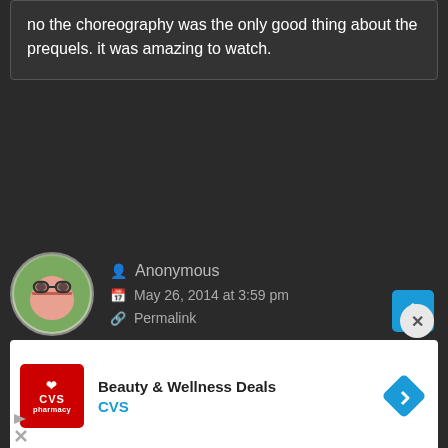no the choreography was the only good thing about the prequels. it was amazing to watch.
Anonymous
May 26, 2014 at 3:59 pm
Permalink
The power of the Original Trilogy has blinded some of you.

Because that Alec Guiness fight was B.A.D. It looked like a senior citizen fighting Rosie the Robot. Did they even rotating their wrists?
Beauty & Wellness Deals
CVS